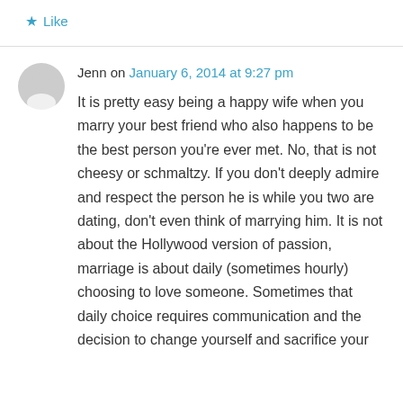Like
Jenn on January 6, 2014 at 9:27 pm
It is pretty easy being a happy wife when you marry your best friend who also happens to be the best person you're ever met. No, that is not cheesy or schmaltzy. If you don't deeply admire and respect the person he is while you two are dating, don't even think of marrying him. It is not about the Hollywood version of passion, marriage is about daily (sometimes hourly) choosing to love someone. Sometimes that daily choice requires communication and the decision to change yourself and sacrifice your